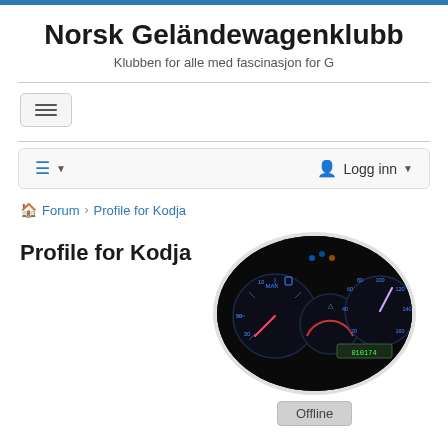Norsk Geländewagenklubb
Klubben for alle med fascinasjon for G
≡ ▾   👤 Logg inn ▾
🏠 Forum › Profile for Kodja
Profile for Kodja
[Figure (photo): Car dashboard gauges lit up at night, showing speedometer, temperature gauge, and other instruments glowing blue inside an oval frame]
Offline